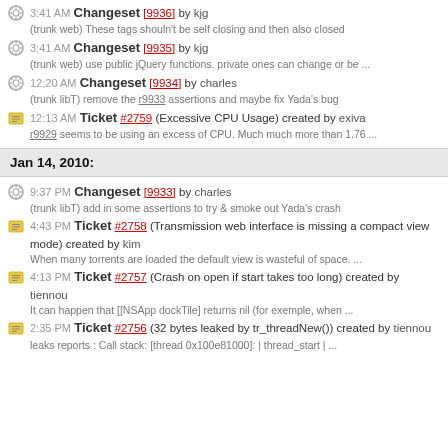3:41 AM Changeset [9936] by kjg
(trunk web) These tags shouln't be self closing and then also closed
3:41 AM Changeset [9935] by kjg
(trunk web) use public jQuery functions. private ones can change or be ...
12:20 AM Changeset [9934] by charles
(trunk libT) remove the r9933 assertions and maybe fix Yada's bug
12:13 AM Ticket #2759 (Excessive CPU Usage) created by exiva
r9929 seems to be using an excess of CPU. Much much more than 1.76 ...
Jan 14, 2010:
9:37 PM Changeset [9933] by charles
(trunk libT) add in some assertions to try & smoke out Yada's crash
4:43 PM Ticket #2758 (Transmission web interface is missing a compact view mode) created by kim
When many torrents are loaded the default view is wasteful of space. ...
4:13 PM Ticket #2757 (Crash on open if start takes too long) created by tiennou
It can happen that [[NSApp dockTile] returns nil (for exemple, when ...
2:35 PM Ticket #2756 (32 bytes leaked by tr_threadNew()) created by tiennou
leaks reports : Call stack: [thread 0x100e81000]: | thread_start | ...